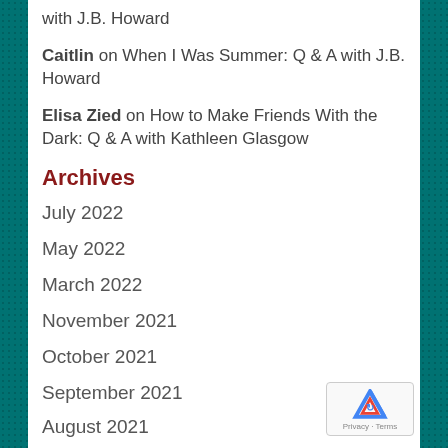with J.B. Howard
Caitlin on When I Was Summer: Q & A with J.B. Howard
Elisa Zied on How to Make Friends With the Dark: Q & A with Kathleen Glasgow
Archives
July 2022
May 2022
March 2022
November 2021
October 2021
September 2021
August 2021